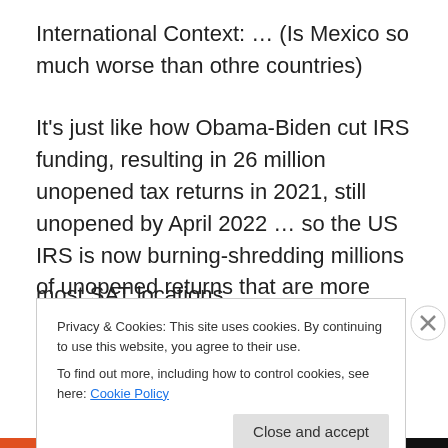International Context: … (Is Mexico so much worse than othre countries)
It's just like how Obama-Biden cut IRS funding, resulting in 26 million unopened tax returns in 2021, still unopened by April 2022 … so the US IRS is now burning-shredding millions of unopened returns that are more than 3 yrs old. … Fortunately, Mexico is not shredding nor burning our SAT-Hacienda tax applications … yet they are at least 4 months behind in being able to issue appointments at most SAT locations
Privacy & Cookies: This site uses cookies. By continuing to use this website, you agree to their use.
To find out more, including how to control cookies, see here: Cookie Policy